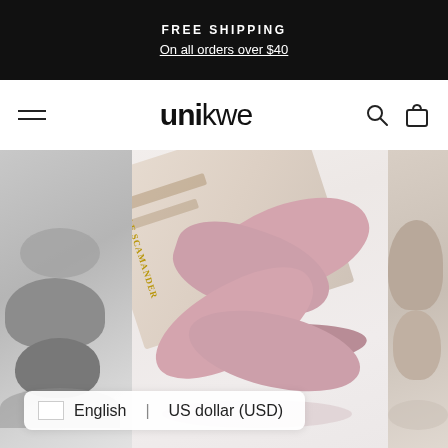FREE SHIPPING
On all orders over $40
unikwe
[Figure (photo): E-commerce website screenshot for 'unikwe' showing a banner with FREE SHIPPING offer, navigation bar with hamburger menu and logo, and a product carousel featuring pink fluffy/fuzzy cross-strap slippers displayed on a white surface with a magazine, alongside partial views of gray and beige slippers on the sides.]
English | US dollar (USD)